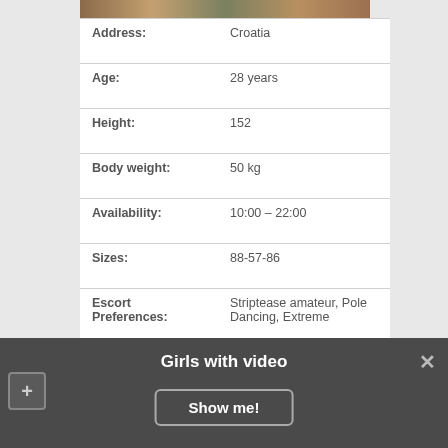[Figure (photo): Partial photo strip at top of profile page]
| Field | Value |
| --- | --- |
| Address: | Croatia |
| Age: | 28 years |
| Height: | 152 |
| Body weight: | 50 kg |
| Availability: | 10:00 – 22:00 |
| Sizes: | 88-57-86 |
| Escort Preferences: | Striptease amateur, Pole Dancing, Extreme |
| Outcall: | No |
| 1H PRICE: | 110$ |
| Without condom: | 480$ |
| Languages: | English |
Girls with video
Show me!
VIDEO